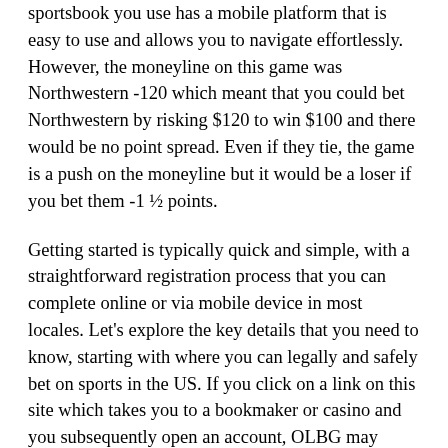sportsbook you use has a mobile platform that is easy to use and allows you to navigate effortlessly. However, the moneyline on this game was Northwestern -120 which meant that you could bet Northwestern by risking $120 to win $100 and there would be no point spread. Even if they tie, the game is a push on the moneyline but it would be a loser if you bet them -1 ½ points.
Getting started is typically quick and simple, with a straightforward registration process that you can complete online or via mobile device in most locales. Let's explore the key details that you need to know, starting with where you can legally and safely bet on sports in the US. If you click on a link on this site which takes you to a bookmaker or casino and you subsequently open an account, OLBG may receive a commission. Please gamble responsibly and only bet what you can afford to lose. Betting sites...